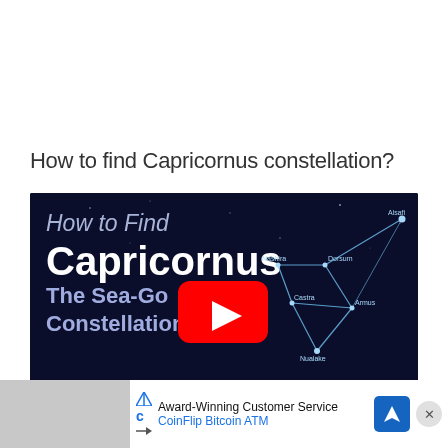How to find Capricornus constellation?
[Figure (screenshot): YouTube video thumbnail showing 'How to Find Capricornus The Sea-Goat Constellation' with a star constellation diagram on a dark blue background and a YouTube play button overlay.]
[Figure (infographic): Advertisement banner: Award-Winning Customer Service - CoinFlip Bitcoin ATM with navigation arrow icon and blue location pin icon, and an X close button.]